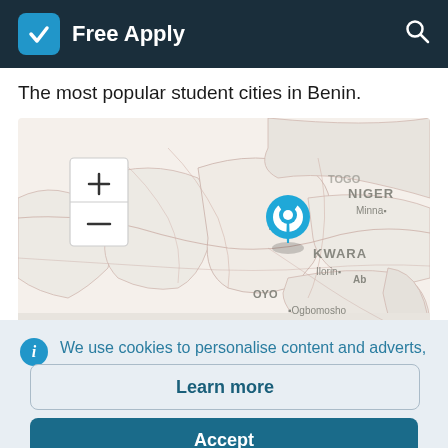Free Apply
The most popular student cities in Benin.
[Figure (map): Map showing Benin and surrounding West African countries/regions including NIGER, Minna, KWARA, Ilorin, OYO, Ogbomosho, KOGI, TOGO, GHANA, with a blue location pin marker over Benin. Map has zoom +/- controls in top left corner.]
We use cookies to personalise content and adverts, to provide social media and to analyse traffic.
Learn more
Accept